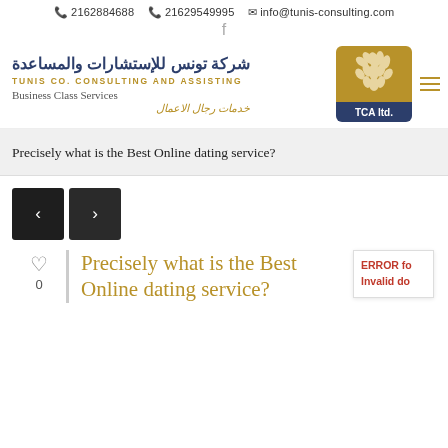📞 2162884688   📞 21629549995   ✉ info@tunis-consulting.com
[Figure (logo): TCA ltd. logo with Arabic and English text for Tunis Co. Consulting and Assisting]
Precisely what is the Best Online dating service?
[Figure (other): Navigation arrows left and right (prev/next buttons)]
♡ 0
Precisely what is the Best Online dating service?
ERROR for Invalid do